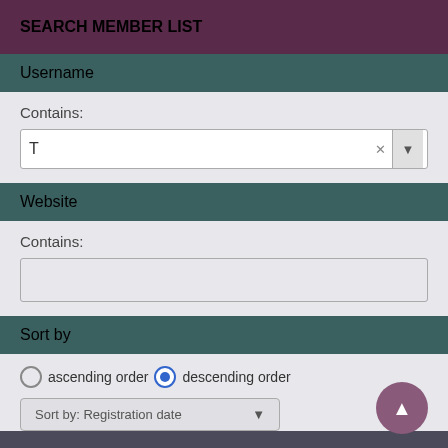SEARCH MEMBER LIST
Username
Contains:
T
Website
Contains:
Sort by
ascending order   descending order
Sort by: Registration date